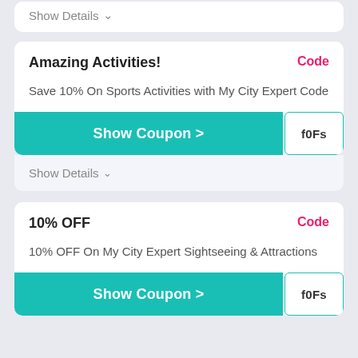Show Details ∨
Amazing Activities!
Code
Save 10% On Sports Activities with My City Expert Code
Show Coupon > f0Fs
Show Details ∨
10% OFF
Code
10% OFF On My City Expert Sightseeing & Attractions
Show Coupon > f0Fs